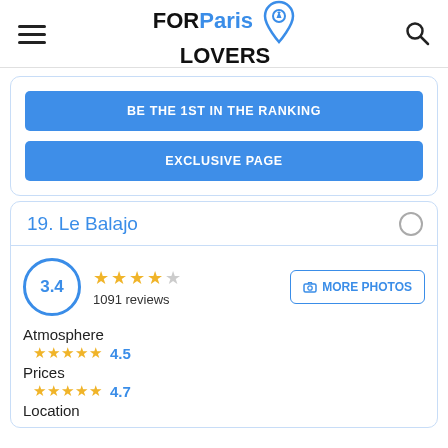FOR Paris LOVERS
BE THE 1ST IN THE RANKING
EXCLUSIVE PAGE
19. Le Balajo
3.4 — 1091 reviews — MORE PHOTOS
Atmosphere 4.5
Prices 4.7
Location